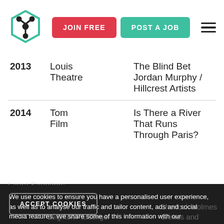JOIN FREE | POST A JOB
| Year | Role/Type | Production/Company |
| --- | --- | --- |
| 2013 | Louis
Theatre | The Blind Bet
Jordan Murphy /
Hillcrest Artists |
| 2014 | Tom
Film | Is There a River
That Runs
Through Paris?
Laura Saunders
Productions |
|  |  | Argos |
| 2014 | Leighton/Passenger | Sherlock Holmes
Crimes and |
We use cookies to ensure you have a personalised user experience, as well as to analyse our traffic and tailor content, ads and social media features. We share some of this information with our technology, analytics and marketing partners. Privacy Policy